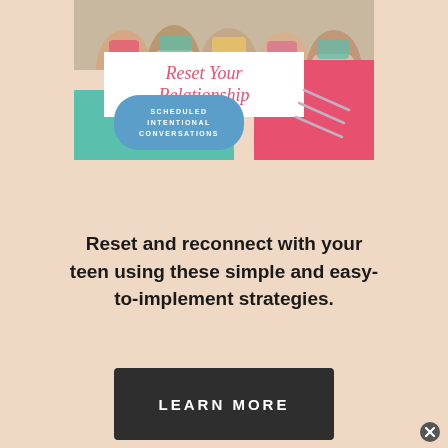[Figure (illustration): Book cover for 'Reset Your Relationship: Scheduled Intentional Conversations' showing group photo of teens at top, white banner with pink cursive title text, teal and pink background shapes, and subtitle text in a blue oval.]
Reset and reconnect with your teen using these simple and easy-to-implement strategies.
LEARN MORE